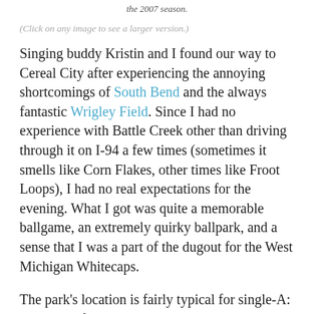the 2007 season.
(Click on any image to see a larger version.)
Singing buddy Kristin and I found our way to Cereal City after experiencing the annoying shortcomings of South Bend and the always fantastic Wrigley Field.  Since I had no experience with Battle Creek other than driving through it on I-94 a few times (sometimes it smells like Corn Flakes, other times like Froot Loops), I had no real expectations for the evening.  What I got was quite a memorable ballgame, an extremely quirky ballpark, and a sense that I was a part of the dugout for the West Michigan Whitecaps.
The park's location is fairly typical for single-A:  it's a part of a recreational complex, just the largest of about a half dozen fields on the site.  The cool part about this is that, at least on the night I went, there were other